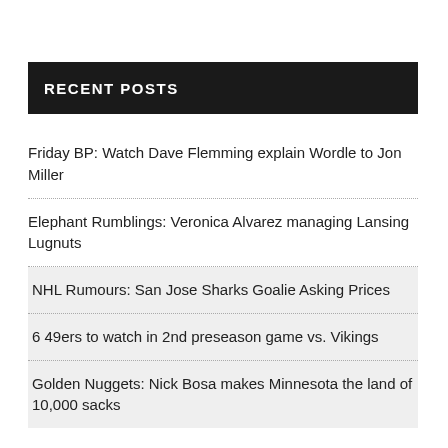RECENT POSTS
Friday BP: Watch Dave Flemming explain Wordle to Jon Miller
Elephant Rumblings: Veronica Alvarez managing Lansing Lugnuts
NHL Rumours: San Jose Sharks Goalie Asking Prices
6 49ers to watch in 2nd preseason game vs. Vikings
Golden Nuggets: Nick Bosa makes Minnesota the land of 10,000 sacks